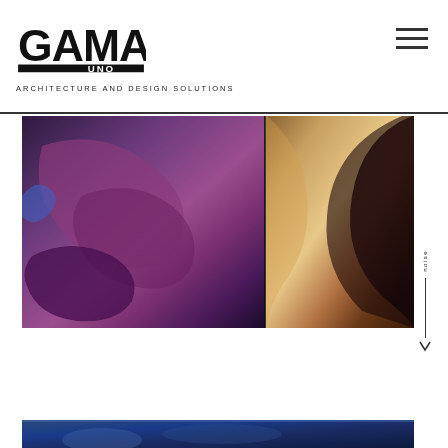[Figure (logo): GAMA UNO logo — bold geometric sans-serif lettering with black rectangular bar accent]
ARCHITECTURE AND DESIGN SOLUTIONS
[Figure (photo): Abstract close-up of reflective metallic surfaces — left panel shows deep purple/violet hues with sculptural glossy forms, right panel shows golden/bronze tones with curved reflective surface]
[Figure (photo): Partial bottom strip showing a blue-toned architectural or object image]